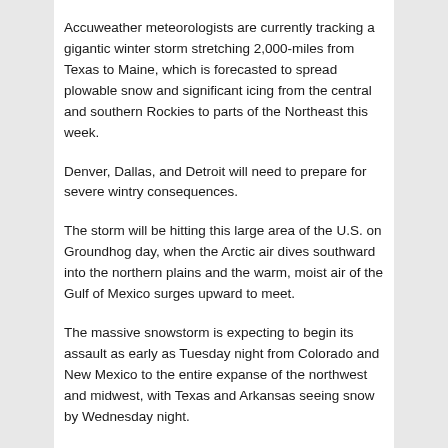Accuweather meteorologists are currently tracking a gigantic winter storm stretching 2,000-miles from Texas to Maine, which is forecasted to spread plowable snow and significant icing from the central and southern Rockies to parts of the Northeast this week.
Denver, Dallas, and Detroit will need to prepare for severe wintry consequences.
The storm will be hitting this large area of the U.S. on Groundhog day, when the Arctic air dives southward into the northern plains and the warm, moist air of the Gulf of Mexico surges upward to meet.
The massive snowstorm is expecting to begin its assault as early as Tuesday night from Colorado and New Mexico to the entire expanse of the northwest and midwest, with Texas and Arkansas seeing snow by Wednesday night.
Any icing can result in downed trees and power lines, and